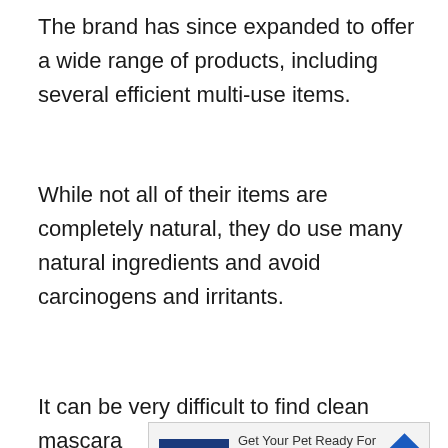The brand has since expanded to offer a wide range of products, including several efficient multi-use items.
While not all of their items are completely natural, they do use many natural ingredients and avoid carcinogens and irritants.
It can be very difficult to find clean mascara
[Figure (other): Petco advertisement banner: Petco logo in dark blue square, text 'Get Your Pet Ready For Summe' and 'Petco' in blue, with a blue diamond arrow icon. Play and close controls at bottom left.]